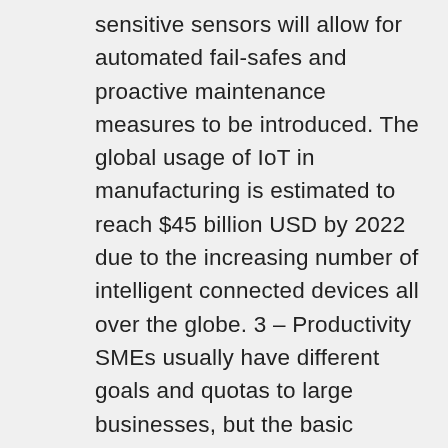sensitive sensors will allow for automated fail-safes and proactive maintenance measures to be introduced. The global usage of IoT in manufacturing is estimated to reach $45 billion USD by 2022 due to the increasing number of intelligent connected devices all over the globe. 3 – Productivity SMEs usually have different goals and quotas to large businesses, but the basic principles are always the same: increase productivity, and revenue will increase as a result. The emergence of highly sophisticated IoT-enabled devices has had a massive impact on business productivity. Company